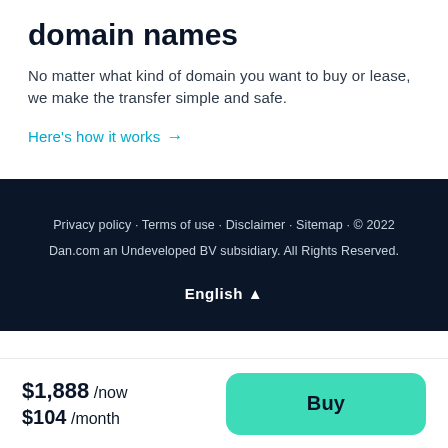domain names
No matter what kind of domain you want to buy or lease, we make the transfer simple and safe.
Here's how it works →
Privacy policy · Terms of use · Disclaimer · Sitemap · © 2022 Dan.com an Undeveloped BV subsidiary. All Rights Reserved.
English ▲
$1,888 /now $104 /month
Buy